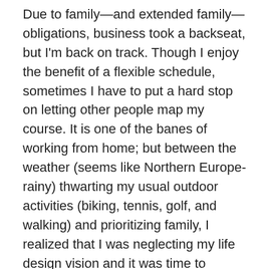Due to family—and extended family—obligations, business took a backseat, but I'm back on track. Though I enjoy the benefit of a flexible schedule, sometimes I have to put a hard stop on letting other people map my course. It is one of the banes of working from home; but between the weather (seems like Northern Europe-rainy) thwarting my usual outdoor activities (biking, tennis, golf, and walking) and prioritizing family, I realized that I was neglecting my life design vision and it was time to retrench and do some strategic planning.
My group of entrepreneurial-minded women deserves so much credit for helping to objectively critique, give advice, and share resources. We brainstorm to find answers to a variety of hurdles. Probably the most valuable though, is the accountability it entails. I find myself rushing to do